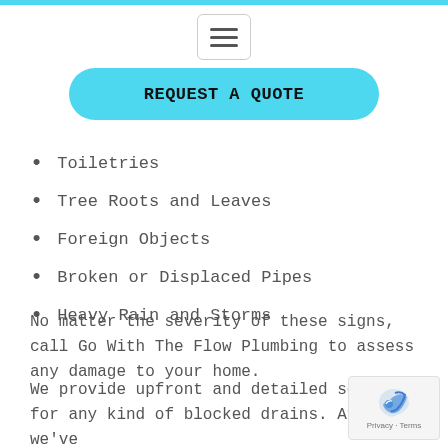[Figure (other): Hamburger menu icon with three horizontal lines inside a rounded rectangle border]
REQUEST A QUOTE
Toiletries
Tree Roots and Leaves
Foreign Objects
Broken or Displaced Pipes
Heavy Rain and Storms
No matter the severity of these signs, call Go With The Flow Plumbing to assess any damage to your home.
We provide upfront and detailed service for any kind of blocked drains. After we've inspected your problem, we will determine a suitable solution and only commence